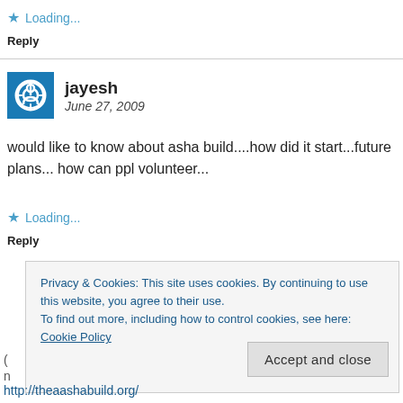★ Loading...
Reply
jayesh
June 27, 2009
would like to know about asha build....how did it start...future plans... how can ppl volunteer...
★ Loading...
Reply
Privacy & Cookies: This site uses cookies. By continuing to use this website, you agree to their use.
To find out more, including how to control cookies, see here:
Cookie Policy
Accept and close
http://theaashabuild.org/